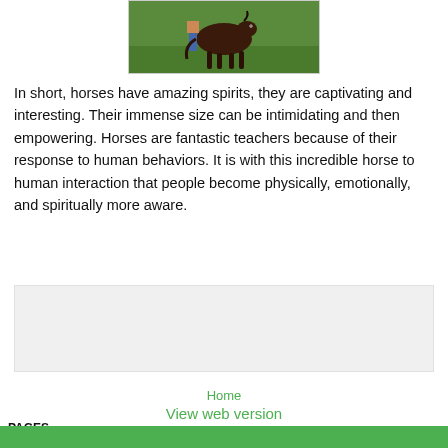[Figure (photo): A horse grazing on green grass, with a person visible in the background. The image is framed with a light gray border.]
In short, horses have amazing spirits, they are captivating and interesting.   Their immense size can be intimidating and then empowering.   Horses are fantastic teachers because of their response to human behaviors.   It is with this incredible horse to human interaction that people become physically, emotionally, and spiritually more aware.
[Figure (other): A light gray rectangular advertisement or widget box.]
Home
View web version
PAGES
Why Horses